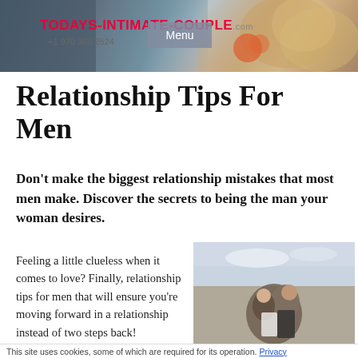[Figure (photo): Website header banner showing a couple with flowers, with site logo and phone number overlay]
Relationship Tips For Men
Don't make the biggest relationship mistakes that most men make.  Discover the secrets to being the man your woman desires.
Feeling a little clueless when it comes to love?  Finally, relationship tips for men that will ensure you're moving forward in a relationship instead of two steps back!
[Figure (photo): A couple embracing outdoors against a sky background]
This site uses cookies, some of which are required for its operation. Privacy